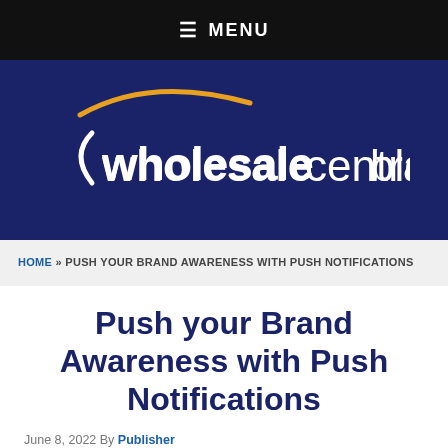☰ MENU
[Figure (logo): Wholesale Central Blog logo — white text on dark navy background with a gold arc swoosh above the 'c' in wholesale]
HOME » PUSH YOUR BRAND AWARENESS WITH PUSH NOTIFICATIONS
Push your Brand Awareness with Push Notifications
June 8, 2022 By Publisher